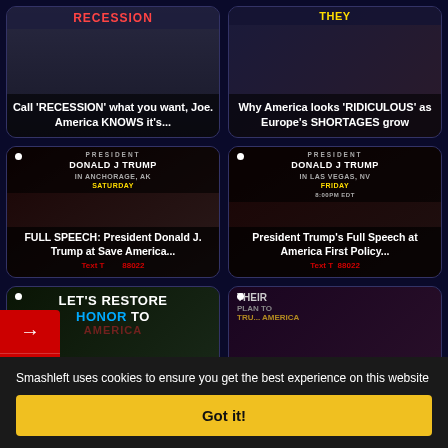[Figure (screenshot): Video thumbnail: Call 'RECESSION' what you want, Joe. America KNOWS it's...]
[Figure (screenshot): Video thumbnail: Why America looks 'RIDICULOUS' as Europe's SHORTAGES grow]
[Figure (screenshot): Video thumbnail: FULL SPEECH: President Donald J. Trump at Save America... (Anchorage, AK, Saturday)]
[Figure (screenshot): Video thumbnail: President Trump's Full Speech at America First Policy... (Las Vegas, NV, Friday)]
[Figure (screenshot): Video thumbnail: Renewing THIS Washington award could SAVE America (Let's Restore HONOR TO AMERICA)]
[Figure (screenshot): Video thumbnail: Connecting Obama's DREAM to today's CHANGED America | PART 2]
[Figure (screenshot): Video thumbnail: THEIR PLAN TO... (partial, cut off)]
[Figure (screenshot): Video thumbnail: PAT & PAY UNLEASHED (partial, cut off)]
Smashleft uses cookies to ensure you get the best experience on this website
Got it!